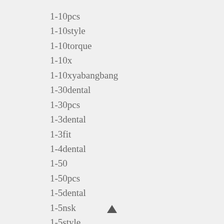1-10pcs
1-10style
1-10torque
1-10x
1-10xyabangbang
1-30dental
1-30pcs
1-3dental
1-3fit
1-4dental
1-50
1-50pcs
1-5dental
1-5nsk
1-5style
1-5x